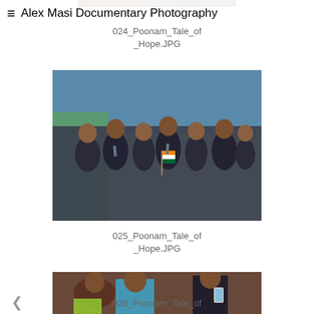≡  Alex Masi Documentary Photography
024_Poonam_Tale_of
_Hope.JPG
[Figure (photo): Group of school children in dark uniforms, one child holding an Indian flag]
025_Poonam_Tale_of
_Hope.JPG
[Figure (photo): Women and children in an outdoor setting, a woman in a blue sari laughing, another person looking at a phone]
026_Poonam_Tale_of